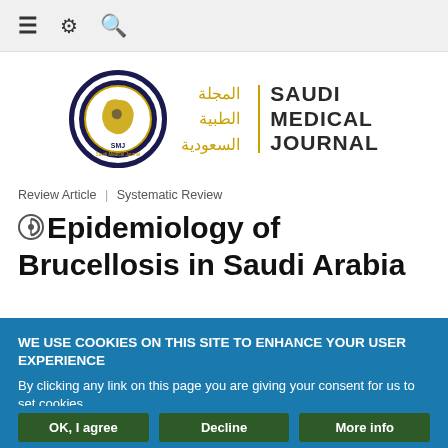≡ ⚙ 🔍
[Figure (logo): Saudi Medical Journal logo with circular emblem showing Saudi Arabia map and SMJ text, Arabic title المجلة الطبية السعودية and English SAUDI MEDICAL JOURNAL]
Review Article | Systematic Review
Epidemiology of Brucellosis in Saudi Arabia
WE USE COOKIES ON THIS SITE TO ENHANCE YOUR USER EXPERIENCE
By clicking any link on this page you are giving your consent for us to set cookies.
OK, I agree   Decline   More info